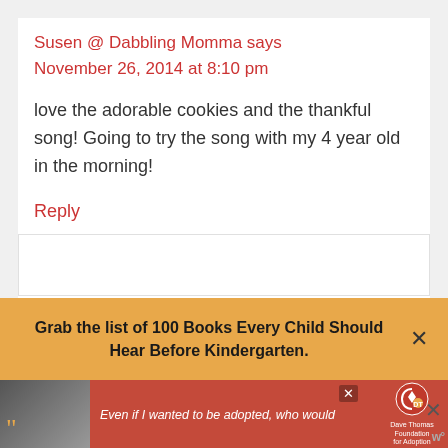Susen @ Dabbling Momma says
November 26, 2014 at 8:10 pm
love the adorable cookies and the thankful song! Going to try the song with my 4 year old in the morning!
Reply
Grab the list of 100 Books Every Child Should Hear Before Kindergarten.
[Figure (photo): Advertisement banner with a woman's photo and text 'Even if I wanted to be adopted, who would' with Dave Thomas Foundation for Adoption logo]